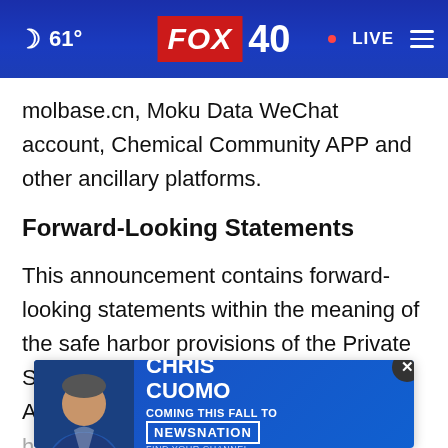🌙 61° FOX 40 • LIVE
molbase.cn, Moku Data WeChat account, Chemical Community APP and other ancillary platforms.
Forward-Looking Statements
This announcement contains forward-looking statements within the meaning of the safe harbor provisions of the Private Securities Litigation Reform Act of 1995. All statements other than statements of historical facts in this announcement
[Figure (advertisement): Chris Cuomo Coming This Fall to NewsNation advertisement banner with close button]